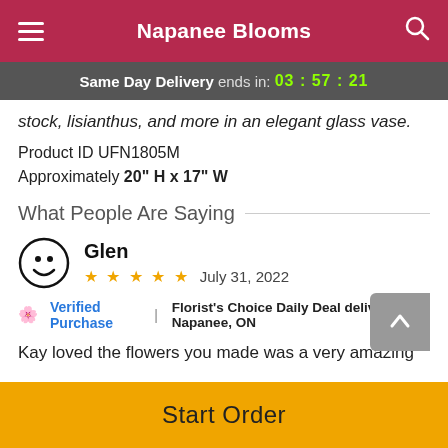Napanee Blooms
Same Day Delivery ends in: 03:57:21
stock, lisianthus, and more in an elegant glass vase.
Product ID UFN1805M
Approximately 20" H x 17" W
What People Are Saying
Glen
★★★★★ July 31, 2022
Verified Purchase | Florist's Choice Daily Deal delivered to Napanee, ON
Kay loved the flowers you made was a very amazing